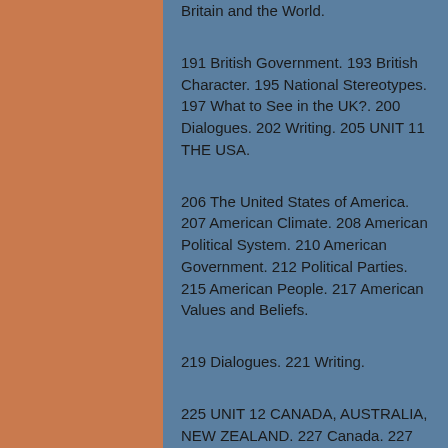Britain and the World.
191 British Government. 193 British Character. 195 National Stereotypes. 197 What to See in the UK?. 200 Dialogues. 202 Writing. 205 UNIT 11 THE USA.
206 The United States of America. 207 American Climate. 208 American Political System. 210 American Government. 212 Political Parties. 215 American People. 217 American Values and Beliefs.
219 Dialogues. 221 Writing.
225 UNIT 12 CANADA, AUSTRALIA, NEW ZEALAND. 227 Canada. 227 The Symbols of Canada. 230 Canada's Inventions. 231 Australia. 233 The Symbols of Australia.
236 Plants and Animals in Australia. 237 N...